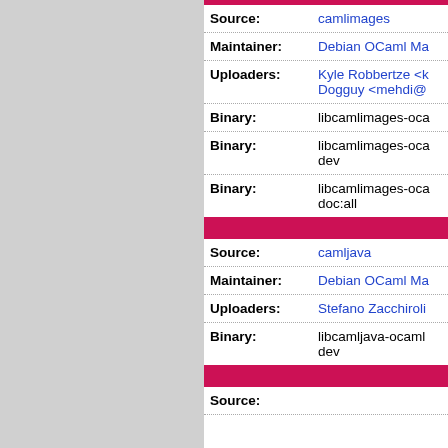| Field | Value |
| --- | --- |
| Source: | camlimages |
| Maintainer: | Debian OCaml Ma... |
| Uploaders: | Kyle Robbertze <k...
Dogguy <mehdi@... |
| Binary: | libcamlimages-oca... |
| Binary: | libcamlimages-oca...
dev |
| Binary: | libcamlimages-oca...
doc:all |
| Field | Value |
| --- | --- |
| Source: | camljava |
| Maintainer: | Debian OCaml Ma... |
| Uploaders: | Stefano Zacchiroli... |
| Binary: | libcamljava-ocaml...
dev |